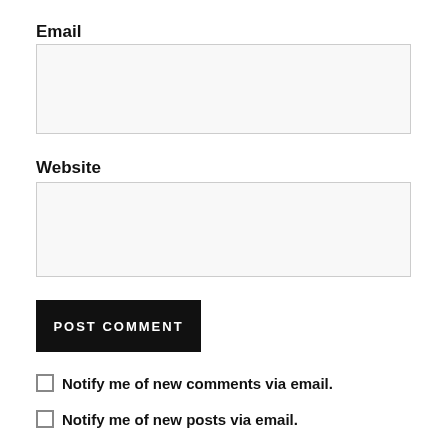Email
[Figure (other): Empty email input text field with light gray background and border]
Website
[Figure (other): Empty website input text field with light gray background and border]
[Figure (other): Black POST COMMENT button]
Notify me of new comments via email.
Notify me of new posts via email.